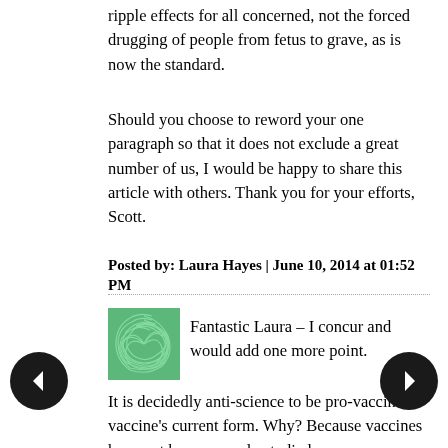ripple effects for all concerned, not the forced drugging of people from fetus to grave, as is now the standard.
Should you choose to reword your one paragraph so that it does not exclude a great number of us, I would be happy to share this article with others. Thank you for your efforts, Scott.
Posted by: Laura Hayes | June 10, 2014 at 01:52 PM
[Figure (illustration): Green swirling pattern avatar icon]
Fantastic Laura – I concur and would add one more point.
It is decidedly anti-science to be pro-vaccine in vaccine's current form. Why? Because vaccines have not been properly studied as